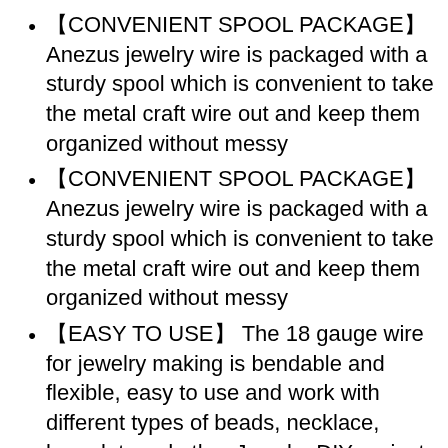【CONVENIENT SPOOL PACKAGE】 Anezus jewelry wire is packaged with a sturdy spool which is convenient to take the metal craft wire out and keep them organized without messy
【CONVENIENT SPOOL PACKAGE】 Anezus jewelry wire is packaged with a sturdy spool which is convenient to take the metal craft wire out and keep them organized without messy
【EASY TO USE】 The 18 gauge wire for jewelry making is bendable and flexible, easy to use and work with different types of beads, necklace, bracelet, and other Jewelry DIY projects
【FIT SIZE】 The artistic wire is approx. 1